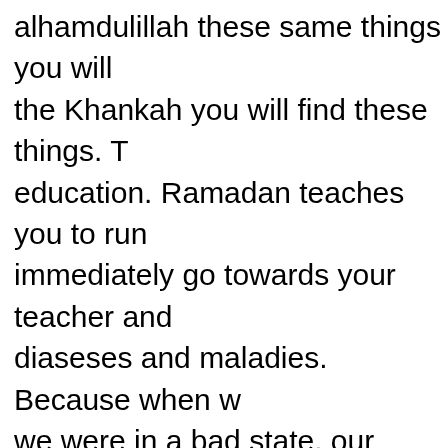alhamdulillah these same things you will find the Khankah you will find these things. T education. Ramadan teaches you to run immediately go towards your teacher an diaseses and maladies. Because when w we were in a bad state, our hearts were didn't remember Allah for even a second for the entire day. For the entire day we SubhaanAllah. Our fast doesn't allow us doesn't allow him to forget Allah. Similarl Sheikh, the Sheikh doesn't allow him to SubhaanAllah. The Sheikh teaches you, together, but Shaytan says I dont want y When you go to you Sheikh, i'll make yo with him. Go there, go over there and do has Dhikrullah with him always. Shaytan